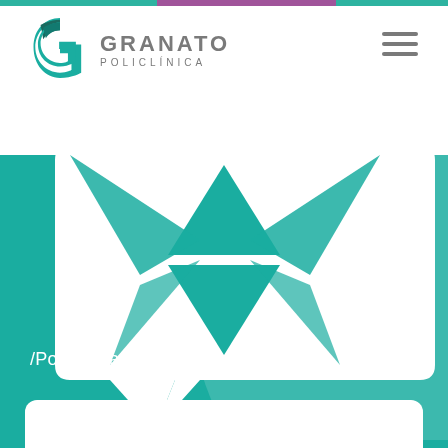[Figure (logo): Granato Policlínica logo with teal G icon and grey text]
/PoliclínicaGranato
[Figure (illustration): White speech bubble / chat icon with geometric star/compass design on teal background]